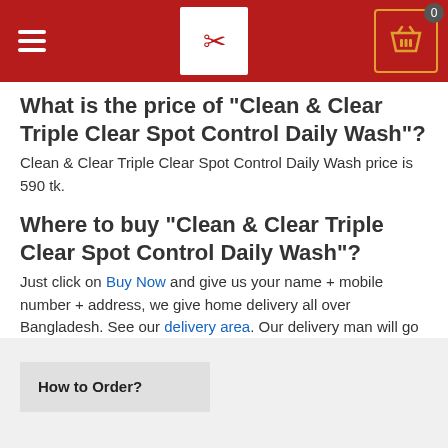Navigation header with hamburger menu, logo, and cart icon showing 0 items
What is the price of "Clean & Clear Triple Clear Spot Control Daily Wash"?
Clean & Clear Triple Clear Spot Control Daily Wash price is 590 tk.
Where to buy "Clean & Clear Triple Clear Spot Control Daily Wash"?
Just click on Buy Now and give us your name + mobile number + address, we give home delivery all over Bangladesh. See our delivery area. Our delivery man will go to all this place and give your product home delivery.
How to Order?